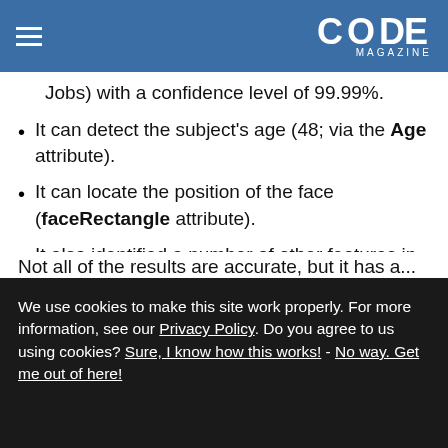CODE MAGAZINE
Jobs) with a confidence level of 99.99%.
It can detect the subject's age (48; via the Age attribute).
It can locate the position of the face (faceRectangle attribute).
It also identified a number of other features in the image – man, person, necktie, concert, etc.
It returned a caption that says, “Steve Jobs was wearing a suit and tie talking on the cell phone”.
Not all of the results are accurate, but it has a ...
We use cookies to make this site work properly. For more information, see our Privacy Policy. Do you agree to us using cookies? Sure, I know how this works! - No way. Get me out of here!